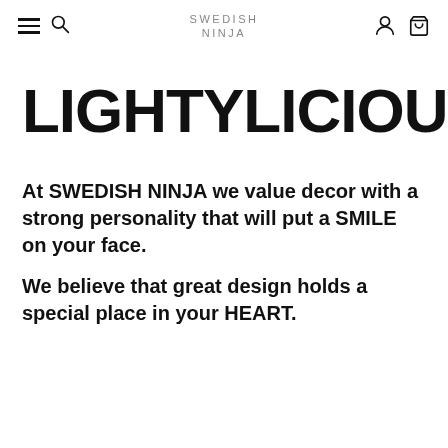SWEDISH NINJA
LIGHTYLICIOUS
At SWEDISH NINJA we value decor with a strong personality that will put a SMILE on your face.
We believe that great design holds a special place in your HEART.